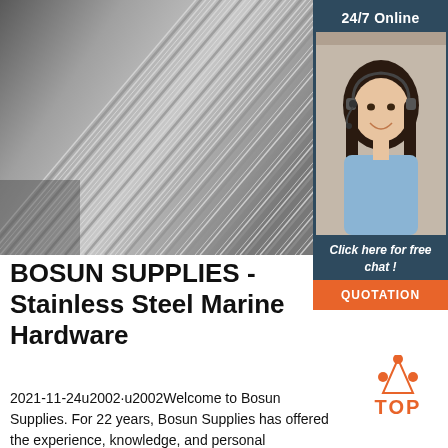[Figure (photo): Close-up photo of bundled stainless steel wire rods/coils showing diagonal parallel metallic strands in silver-grey tones]
[Figure (infographic): Sidebar panel with dark blue-grey background showing '24/7 Online' text, a smiling female customer service agent wearing a headset, 'Click here for free chat!' italic text, and an orange QUOTATION button]
BOSUN SUPPLIES - Stainless Steel Marine Hardware
[Figure (logo): TOP logo with orange triangle dots forming an upward triangle above the word TOP in orange bold letters]
2021-11-24u2002·u2002Welcome to Bosun Supplies. For 22 years, Bosun Supplies has offered the experience, knowledge, and personal